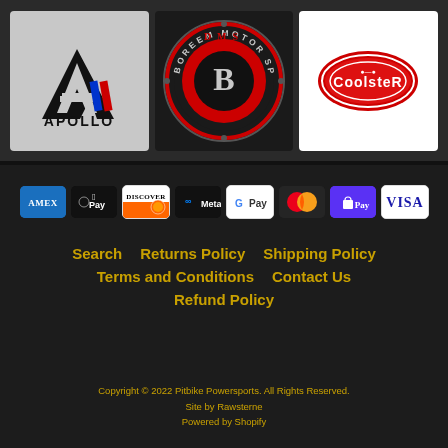[Figure (logo): Three brand logos: Apollo (motorsports brand with stylized A and Italian flag colors), Boreem Motor Sports (circular badge logo), and Coolster (red oval logo on white background)]
[Figure (infographic): Payment method icons: AMEX (blue), Apple Pay (black), Discover (orange), Meta Pay (black), Google Pay (white), Mastercard (red/orange), Shop Pay (purple), VISA (white)]
Search
Returns Policy
Shipping Policy
Terms and Conditions
Contact Us
Refund Policy
Copyright © 2022 Pitbike Powersports. All Rights Reserved.
Site by Rawsterne
Powered by Shopify